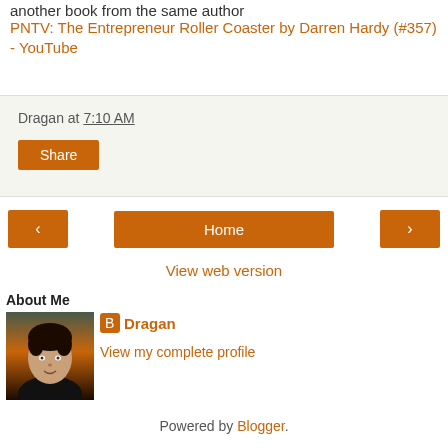another book from the same author
PNTV: The Entrepreneur Roller Coaster by Darren Hardy (#357) - YouTube
Dragan at 7:10 AM
Share
‹
Home
›
View web version
About Me
[Figure (photo): Profile photo of Dragan - man with dark hair against orange/sunset background]
Dragan
View my complete profile
Powered by Blogger.